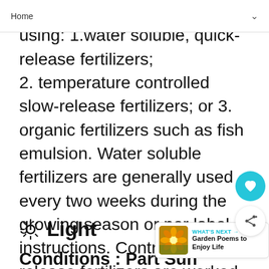Home
An using: 1.water soluble, quick-release fertilizers; 2. temperature controlled slow-release fertilizers; or 3. organic fertilizers such as fish emulsion. Water soluble fertilizers are generally used every two weeks during the growing season or per label instructions. Controlled, slow-release fertilizers are worked into the soil ususally only once during the growing season or per label directions. For organic fertilizers such as fish emulsion, follow label directions as they may vary per product 1
☀ Light
Conditions : Part Sun